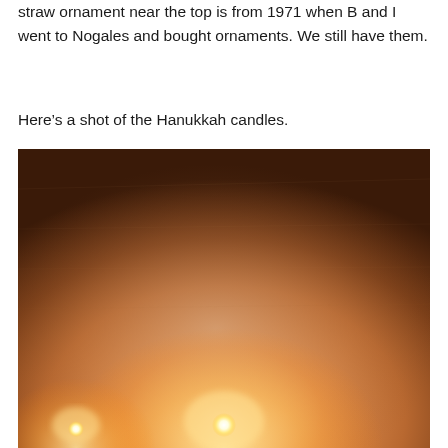straw ornament near the top is from 1971 when B and I went to Nogales and bought ornaments. We still have them.
Here's a shot of the Hanukkah candles.
[Figure (photo): A dimly lit photo of Hanukkah candles burning. The image shows a warm orange-beige glow illuminating a textured wall surface, with bright candle flames visible at the bottom of the frame.]